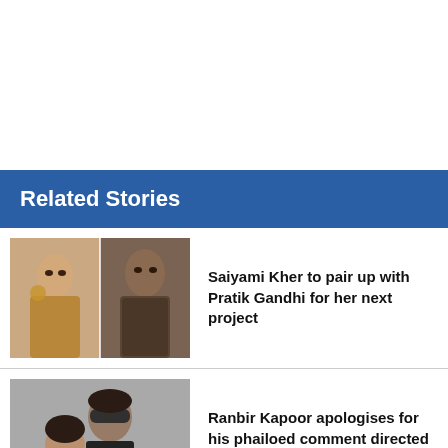Related Stories
[Figure (photo): Composite photo of Saiyami Kher and Pratik Gandhi side by side]
Saiyami Kher to pair up with Pratik Gandhi for her next project
[Figure (photo): Photo of Ranbir Kapoor and Alia Bhatt together]
Ranbir Kapoor apologises for his phailoed comment directed at Alia Bhatt